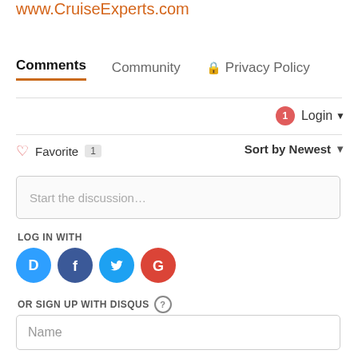www.CruiseExperts.com
Comments | Community | Privacy Policy
Login
♡ Favorite 1   Sort by Newest
Start the discussion…
LOG IN WITH
[Figure (logo): Social login icons: Disqus (blue circle D), Facebook (dark blue circle f), Twitter (light blue circle bird), Google (red circle G)]
OR SIGN UP WITH DISQUS ?
Name